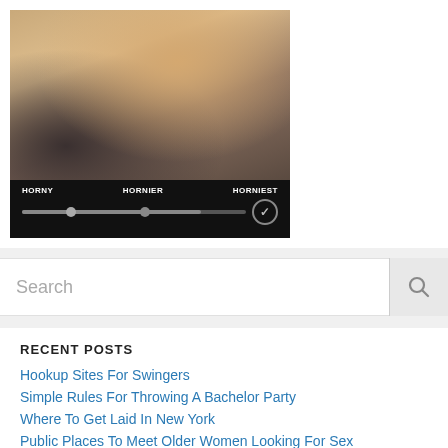[Figure (photo): Advertisement banner for UberHorny website showing a person in a car. Contains a slider UI with labels HORNY, HORNIER, HORNIEST. Bottom shows UBERHORNY logo and REQUEST HER button.]
Search
RECENT POSTS
Hookup Sites For Swingers
Simple Rules For Throwing A Bachelor Party
Where To Get Laid In New York
Public Places To Meet Older Women Looking For Sex